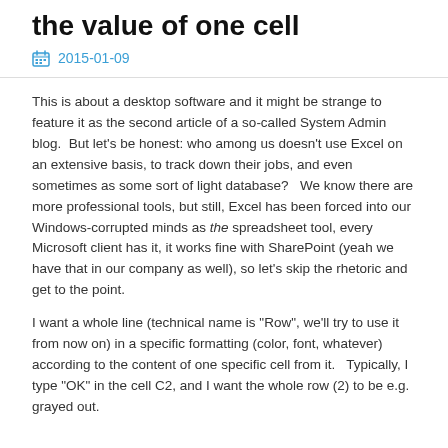the value of one cell
2015-01-09
This is about a desktop software and it might be strange to feature it as the second article of a so-called System Admin blog.  But let’s be honest: who among us doesn’t use Excel on an extensive basis, to track down their jobs, and even sometimes as some sort of light database?   We know there are more professional tools, but still, Excel has been forced into our Windows-corrupted minds as the spreadsheet tool, every Microsoft client has it, it works fine with SharePoint (yeah we have that in our company as well), so let’s skip the rhetoric and get to the point.
I want a whole line (technical name is “Row”, we’ll try to use it from now on) in a specific formatting (color, font, whatever) according to the content of one specific cell from it.   Typically, I type “OK” in the cell C2, and I want the whole row (2) to be e.g. grayed out.